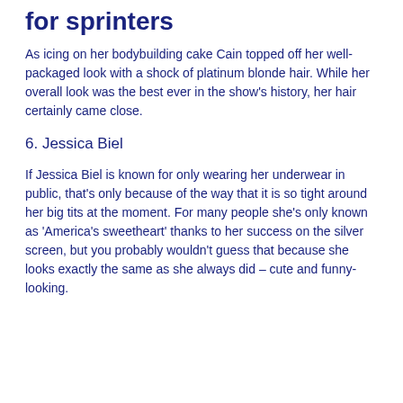for sprinters
As icing on her bodybuilding cake Cain topped off her well-packaged look with a shock of platinum blonde hair. While her overall look was the best ever in the show's history, her hair certainly came close.
6. Jessica Biel
If Jessica Biel is known for only wearing her underwear in public, that's only because of the way that it is so tight around her big tits at the moment. For many people she's only known as 'America's sweetheart' thanks to her success on the silver screen, but you probably wouldn't guess that because she looks exactly the same as she always did – cute and funny-looking.